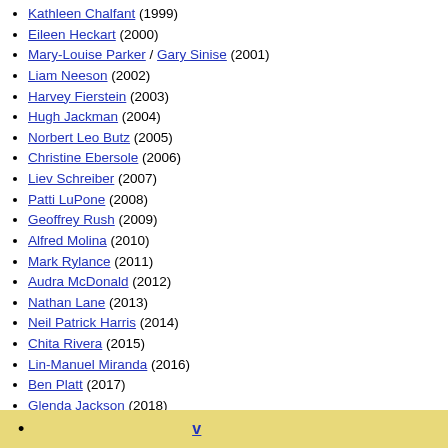Kathleen Chalfant (1999)
Eileen Heckart (2000)
Mary-Louise Parker / Gary Sinise (2001)
Liam Neeson (2002)
Harvey Fierstein (2003)
Hugh Jackman (2004)
Norbert Leo Butz (2005)
Christine Ebersole (2006)
Liev Schreiber (2007)
Patti LuPone (2008)
Geoffrey Rush (2009)
Alfred Molina (2010)
Mark Rylance (2011)
Audra McDonald (2012)
Nathan Lane (2013)
Neil Patrick Harris (2014)
Chita Rivera (2015)
Lin-Manuel Miranda (2016)
Ben Platt (2017)
Glenda Jackson (2018)
Bryan Cranston (2019)
Danny Burstein (2020)
Sutton Foster (2022)
v